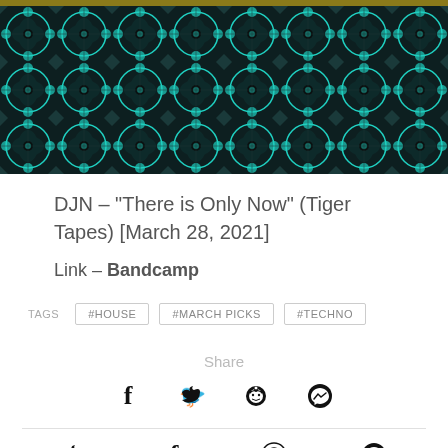[Figure (illustration): Teal and dark tiled kaleidoscopic pattern used as hero header image]
DJN – "There is Only Now" (Tiger Tapes) [March 28, 2021]
Link – Bandcamp
TAGS  #HOUSE  #MARCH PICKS  #TECHNO
Share
[Figure (infographic): Social share icons: Facebook, Twitter, Reddit, Messenger]
[Figure (infographic): Footer social icons: Twitter, Facebook, WhatsApp, Messenger]